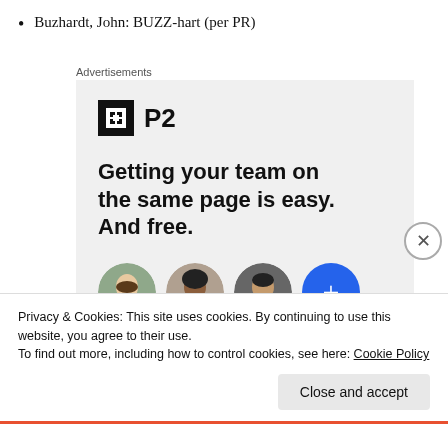Buzhardt, John: BUZZ-hart (per PR)
[Figure (screenshot): P2 advertisement with logo, tagline 'Getting your team on the same page is easy. And free.' and three circular avatar photos plus a blue plus button]
Privacy & Cookies: This site uses cookies. By continuing to use this website, you agree to their use.
To find out more, including how to control cookies, see here: Cookie Policy
Close and accept